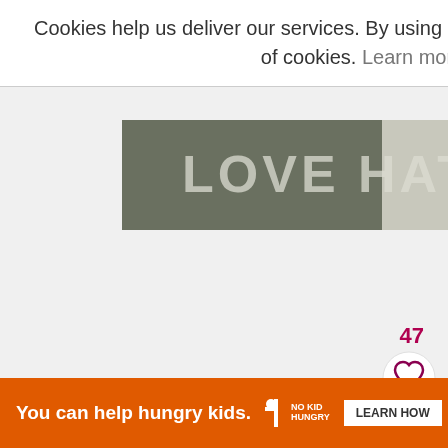Cookies help us deliver our services. By using our services, you agree to our use of cookies. Learn more Got it
[Figure (photo): Partially visible background image with 'LOVE HATE' text overlay in large gray letters]
47
[Figure (infographic): Social sharing sidebar with heart icon (white circle), blue heart icon circle, purple circle with number 67, and share icon (white circle)]
67
WHAT'S NEXT → Orange and Pomegranate...
You can help hungry kids. LEARN HOW